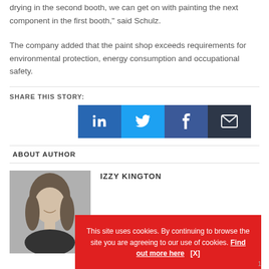drying in the second booth, we can get on with painting the next component in the first booth,” said Schulz.
The company added that the paint shop exceeds requirements for environmental protection, energy consumption and occupational safety.
SHARE THIS STORY:
[Figure (infographic): Social media share buttons: LinkedIn (blue), Twitter (light blue), Facebook (dark blue), Email (dark grey)]
ABOUT AUTHOR
[Figure (photo): Black and white headshot photo of Izzy Kington, a woman with long hair, smiling]
IZZY KINGTON
This site uses cookies. By continuing to browse the site you are agreeing to our use of cookies. Find out more here  [X]